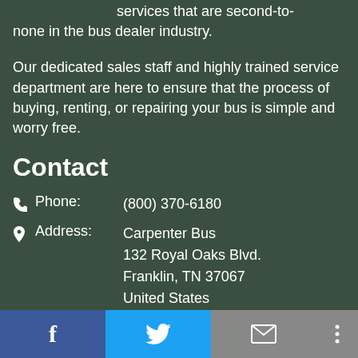services that are second-to-none in the bus dealer industry.
Our dedicated sales staff and highly trained service department are here to ensure that the process of buying, renting, or repairing your bus is simple and worry free.
Contact
Phone: (800) 370-6180
Address: Carpenter Bus 132 Royal Oaks Blvd. Franklin, TN 37067 United States
Email: info@carpenterbus.com